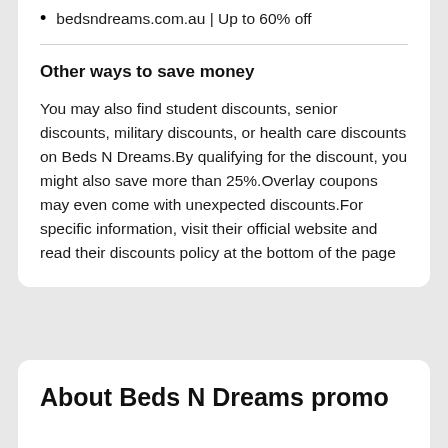bedsndreams.com.au | Up to 60% off
Other ways to save money
You may also find student discounts, senior discounts, military discounts, or health care discounts on Beds N Dreams.By qualifying for the discount, you might also save more than 25%.Overlay coupons may even come with unexpected discounts.For specific information, visit their official website and read their discounts policy at the bottom of the page
About Beds N Dreams promo